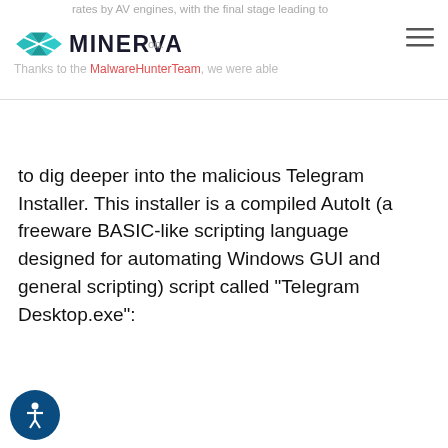rates by AV engines, with the final stage leading to ... MINERVA ... Thanks to the MalwareHunterTeam, we were able
to dig deeper into the malicious Telegram Installer. This installer is a compiled AutoIt (a freeware BASIC-like scripting language designed for automating Windows GUI and general scripting) script called “Telegram Desktop.exe”:
[Figure (screenshot): Screenshot of Telegram Desktop.exe icon: black background with Telegram paper-plane logo in a cyan circle, labeled 'Telegram desktop.exe']
Figure 1 – Malicious Installer’s Icon
s AutoIt script is the first stage of the attack which creates a new folder named “TextInputh”